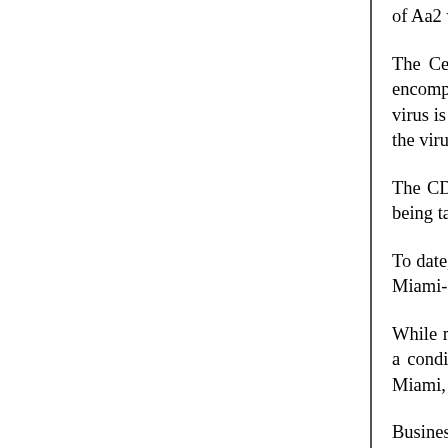of Aa2 with a stable outlook.
The Centers for Disease Control and Prevention neighborhood north of downtown Miami encompass transmitted cases of the Zika virus were found in tes Dade County where the Zika virus is being spread lo Miami Beach joins the Wynwood section of Miami confirmed cases of the virus that are not travel-relate
The CDC's travel advisory marks the first time in the to a U.S. location. Extra measures are being taken lo the State. Those include educating residents abou insecticide.
To date, 46 states plus the District of Columbia hav U.S., the CDC said. The cases reported in Miami-Dac country.
While most Zika cases are mild or symptom-free, wo to babies with abnormally small heads, a condition door surveys, spraying and sampling in the affecte area in the affected zone in Miami, where officials co
Business and government leaders are hoping the F and Central America, where thousands of infections While emergency Zika spending proposals have bo make sure the virus does not create more damage ac